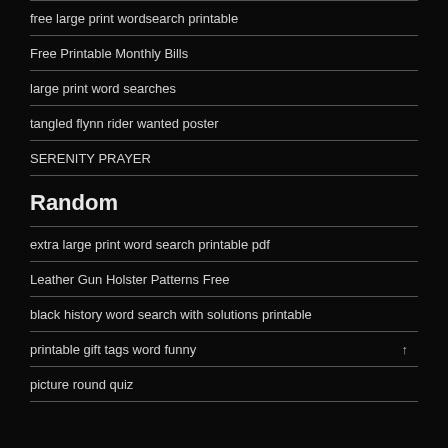free large print wordsearch printable
Free Printable Monthly Bills
large print word searches
tangled flynn rider wanted poster
SERENITY PRAYER
Random
extra large print word search printable pdf
Leather Gun Holster Patterns Free
black history word search with solutions printable
printable gift tags word funny
picture round quiz